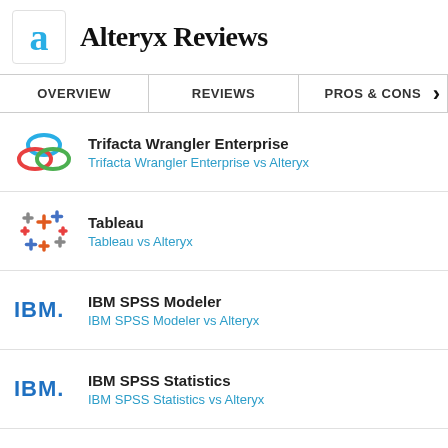Alteryx Reviews
OVERVIEW
REVIEWS
PROS & CONS
Trifacta Wrangler Enterprise
Trifacta Wrangler Enterprise vs Alteryx
Tableau
Tableau vs Alteryx
IBM SPSS Modeler
IBM SPSS Modeler vs Alteryx
IBM SPSS Statistics
IBM SPSS Statistics vs Alteryx
QlikView
QlikView vs Alteryx